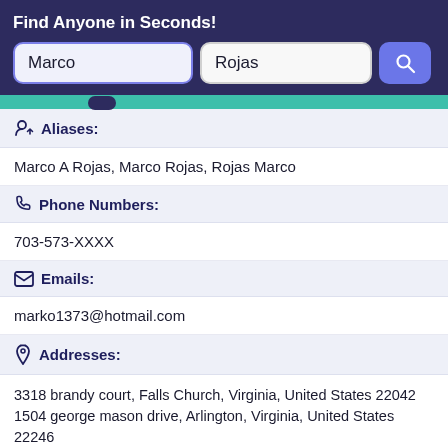Find Anyone in Seconds!
Marco
Rojas
Aliases:
Marco A Rojas, Marco Rojas, Rojas Marco
Phone Numbers:
703-573-XXXX
Emails:
marko1373@hotmail.com
Addresses:
3318 brandy court, Falls Church, Virginia, United States 22042
1504 george mason drive, Arlington, Virginia, United States 22246
Record Overview: